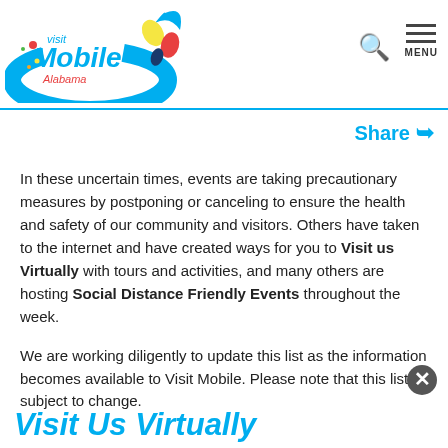Visit Mobile Alabama — navigation header with logo, search icon, and menu
Share
In these uncertain times, events are taking precautionary measures by postponing or canceling to ensure the health and safety of our community and visitors. Others have taken to the internet and have created ways for you to Visit us Virtually with tours and activities, and many others are hosting Social Distance Friendly Events throughout the week.
We are working diligently to update this list as the information becomes available to Visit Mobile. Please note that this list is subject to change.
Visit Us Virtually